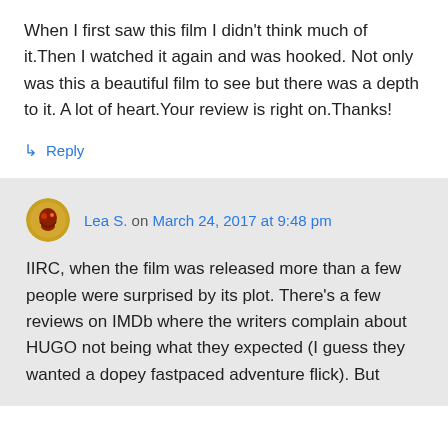When I first saw this film I didn't think much of it.Then I watched it again and was hooked. Not only was this a beautiful film to see but there was a depth to it. A lot of heart.Your review is right on.Thanks!
↳ Reply
Lea S. on March 24, 2017 at 9:48 pm
IIRC, when the film was released more than a few people were surprised by its plot. There's a few reviews on IMDb where the writers complain about HUGO not being what they expected (I guess they wanted a dopey fastpaced adventure flick). But